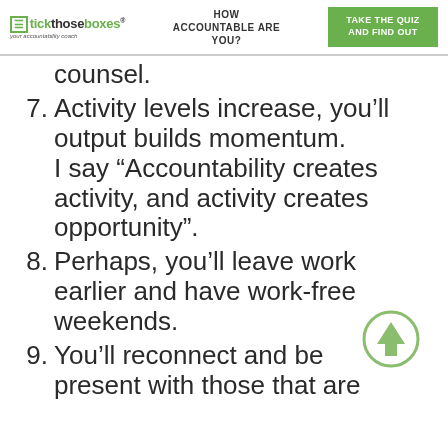tickthoseboxes® — HOW ACCOUNTABLE ARE YOU? — TAKE THE QUIZ AND FIND OUT
counsel.
7. Activity levels increase, you'll output builds momentum. I say “Accountability creates activity, and activity creates opportunity”.
8. Perhaps, you'll leave work earlier and have work-free weekends.
9. You'll reconnect and be present with those that are